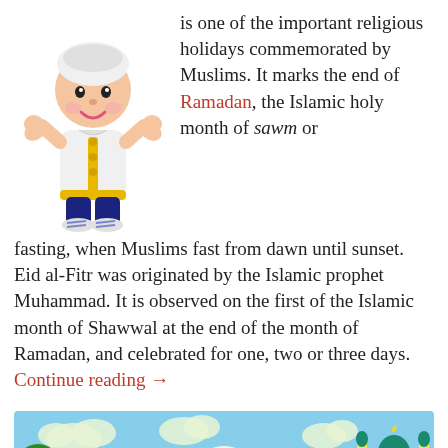[Figure (illustration): Cartoon illustration of a smiling boy in traditional Islamic white garment with gold trim, arms raised, wearing dark trousers and white shoes]
is one of the important religious holidays commemorated by Muslims. It marks the end of Ramadan, the Islamic holy month of sawm or fasting, when Muslims fast from dawn until sunset. Eid al-Fitr was originated by the Islamic prophet Muhammad. It is observed on the first of the Islamic month of Shawwal at the end of the month of Ramadan, and celebrated for one, two or three days. Continue reading →
[Figure (illustration): Cartoon scene of a boy in white traditional Islamic dress standing in a green field with animals (goats/sheep), trees, clouds, and a mosque/palace building on the right side, under a blue sky]